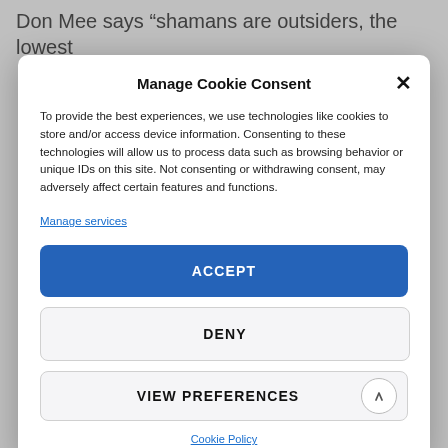Don Mee says “shamans are outsiders, the lowest
Manage Cookie Consent
To provide the best experiences, we use technologies like cookies to store and/or access device information. Consenting to these technologies will allow us to process data such as browsing behavior or unique IDs on this site. Not consenting or withdrawing consent, may adversely affect certain features and functions.
Manage services
ACCEPT
DENY
VIEW PREFERENCES
Cookie Policy